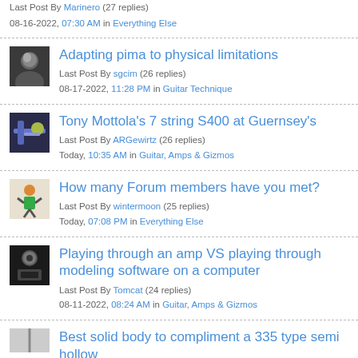Last Post By Marinero (27 replies)
08-16-2022, 07:30 AM in Everything Else
Adapting pima to physical limitations
Last Post By sgcim (26 replies)
08-17-2022, 11:28 PM in Guitar Technique
Tony Mottola's 7 string S400 at Guernsey's
Last Post By ARGewirtz (26 replies)
Today, 10:35 AM in Guitar, Amps & Gizmos
How many Forum members have you met?
Last Post By wintermoon (25 replies)
Today, 07:08 PM in Everything Else
Playing through an amp VS playing through modeling software on a computer
Last Post By Tomcat (24 replies)
08-11-2022, 08:24 AM in Guitar, Amps & Gizmos
Best solid body to compliment a 335 type semi hollow